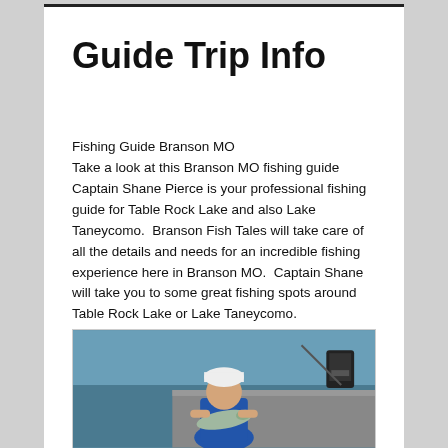Guide Trip Info
Fishing Guide Branson MO
Take a look at this Branson MO fishing guide Captain Shane Pierce is your professional fishing guide for Table Rock Lake and also Lake Taneycomo.  Branson Fish Tales will take care of all the details and needs for an incredible fishing experience here in Branson MO.  Captain Shane will take you to some great fishing spots around Table Rock Lake or Lake Taneycomo.
[Figure (photo): A child on a fishing boat holding a large fish, with blue lake water in the background and fishing equipment visible.]